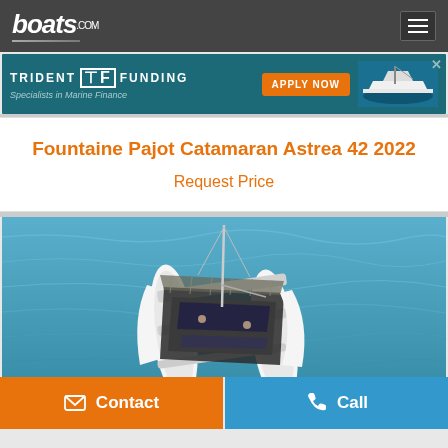boats.com
[Figure (screenshot): Trident Funding advertisement banner - dark teal background with logo, 'Specialists in Marine Finance' tagline, orange 'APPLY NOW' button, and boat image]
Fountaine Pajot Catamaran Astrea 42 2022
Request Price
[Figure (photo): Aerial view of a Fountaine Pajot Astrea 42 catamaran sailing on turquoise/teal water, white hull with dark deck, mast and rigging visible]
Contact
Call